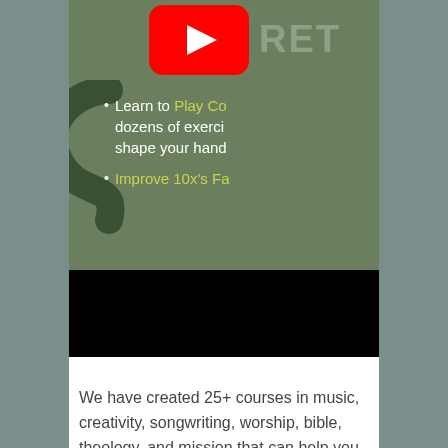[Figure (screenshot): A partially visible promotional screenshot with a green background, YouTube play button icon, partial text 'RET', decorative dark swirl on left, bullet points listing 'Learn to Play Co... dozens of exerci... shape your hand...' and 'Improve 10x's Fa...' with a black bar at the bottom.]
We have created 25+ courses in music, creativity, songwriting, worship, bible, theology, and mission that can help you grow in your craft, character, and culture-making.